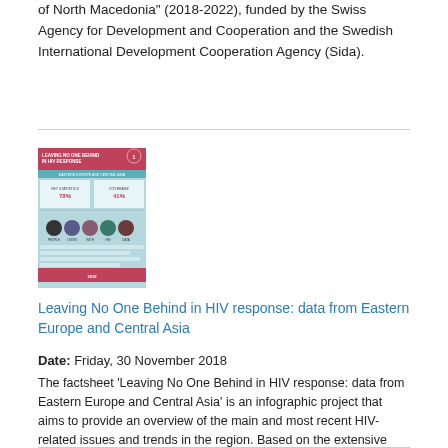of North Macedonia" (2018-2022), funded by the Swiss Agency for Development and Cooperation and the Swedish International Development Cooperation Agency (Sida).
[Figure (infographic): Thumbnail image of a factsheet titled 'Leaving No One Behind in HIV Response' showing HIV-related statistics and infographic data for Eastern Europe and Central Asia, 2018.]
Leaving No One Behind in HIV response: data from Eastern Europe and Central Asia
Date: Friday, 30 November 2018
The factsheet 'Leaving No One Behind in HIV response: data from Eastern Europe and Central Asia' is an infographic project that aims to provide an overview of the main and most recent HIV-related issues and trends in the region. Based on the extensive analysis of UNAIDS data and statistics, the factsheet identifies the status and needs of the most affected and vulnerable groups.